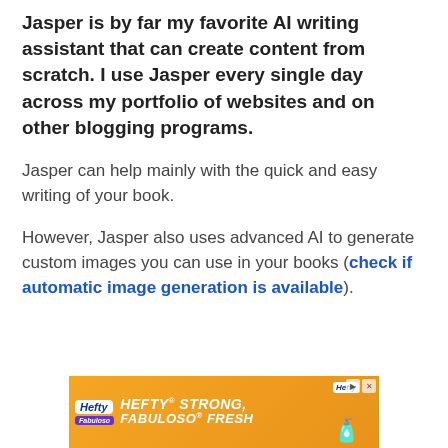Jasper is by far my favorite AI writing assistant that can create content from scratch. I use Jasper every single day across my portfolio of websites and on other blogging programs.
Jasper can help mainly with the quick and easy writing of your book.
However, Jasper also uses advanced AI to generate custom images you can use in your books (check if automatic image generation is available).
[Figure (other): Advertisement banner for Hefty Strong, Fabuloso Fresh products with orange background]